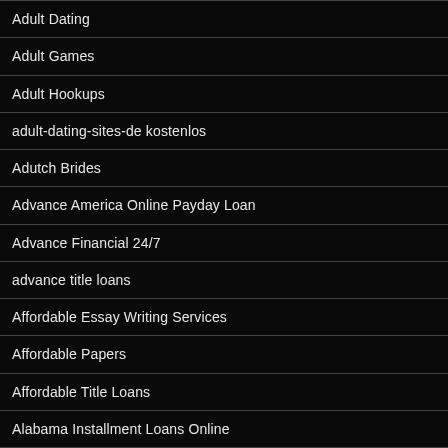Adult Dating
Adult Games
Adult Hookups
adult-dating-sites-de kostenlos
Adutch Brides
Advance America Online Payday Loan
Advance Financial 24/7
advance title loans
Affordable Essay Writing Services
Affordable Papers
Affordable Title Loans
Alabama Installment Loans Online